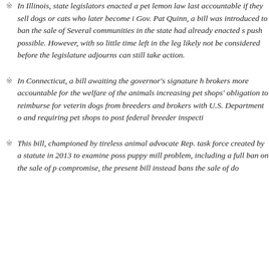In Illinois, state legislators enacted a pet lemon law last accountable if they sell dogs or cats who later become i Gov. Pat Quinn, a bill was introduced to ban the sale of Several communities in the state had already enacted s push possible. However, with so little time left in the leg likely not be considered before the legislature adjourns can still take action.
In Connecticut, a bill awaiting the governor's signature h brokers more accountable for the welfare of the animals increasing pet shops' obligation to reimburse for veterin dogs from breeders and brokers with U.S. Department o and requiring pet shops to post federal breeder inspecti
This bill, championed by tireless animal advocate Rep. task force created by a statute in 2013 to examine poss puppy mill problem, including a full ban on the sale of p compromise, the present bill instead bans the sale of do